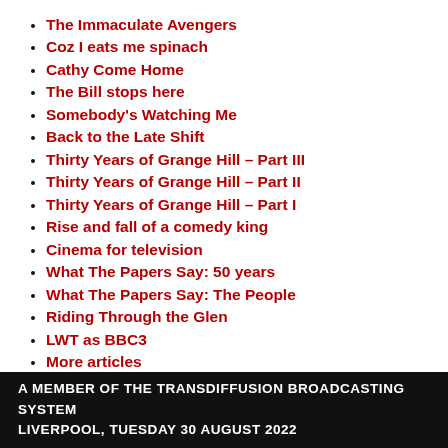The Immaculate Avengers
Coz I eats me spinach
Cathy Come Home
The Bill stops here
Somebody's Watching Me
Back to the Late Shift
Thirty Years of Grange Hill – Part III
Thirty Years of Grange Hill – Part II
Thirty Years of Grange Hill – Part I
Rise and fall of a comedy king
Cinema for television
What The Papers Say: 50 years
What The Papers Say: The People
Riding Through the Glen
LWT as BBC3
More articles
A MEMBER OF THE TRANSDIFFUSION BROADCASTING SYSTEM
LIVERPOOL, TUESDAY 30 AUGUST 2022